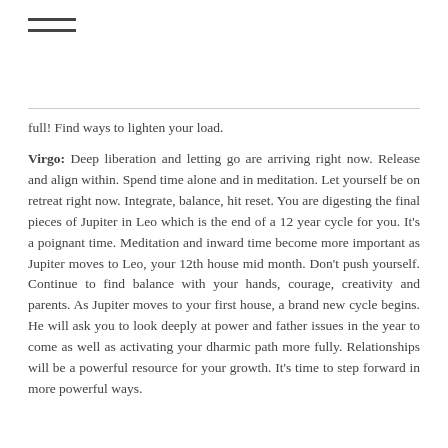☰
full! Find ways to lighten your load.
Virgo: Deep liberation and letting go are arriving right now. Release and align within. Spend time alone and in meditation. Let yourself be on retreat right now. Integrate, balance, hit reset. You are digesting the final pieces of Jupiter in Leo which is the end of a 12 year cycle for you. It's a poignant time. Meditation and inward time become more important as Jupiter moves to Leo, your 12th house mid month. Don't push yourself. Continue to find balance with your hands, courage, creativity and parents. As Jupiter moves to your first house, a brand new cycle begins. He will ask you to look deeply at power and father issues in the year to come as well as activating your dharmic path more fully. Relationships will be a powerful resource for your growth. It's time to step forward in more powerful ways.